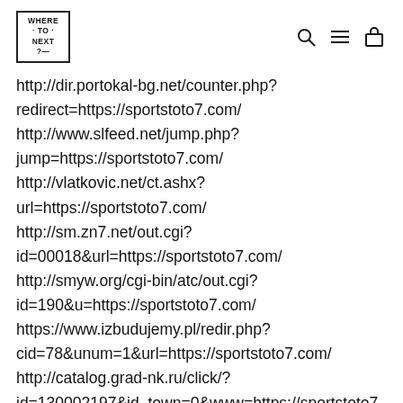WHERE TO NEXT ?
http://dir.portokal-bg.net/counter.php?redirect=https://sportstoto7.com/
http://www.slfeed.net/jump.php?jump=https://sportstoto7.com/
http://vlatkovic.net/ct.ashx?url=https://sportstoto7.com/
http://sm.zn7.net/out.cgi?id=00018&url=https://sportstoto7.com/
http://smyw.org/cgi-bin/atc/out.cgi?id=190&u=https://sportstoto7.com/
https://www.izbudujemy.pl/redir.php?cid=78&unum=1&url=https://sportstoto7.com/
http://catalog.grad-nk.ru/click/?id=130002197&id_town=0&www=https://sportstoto7